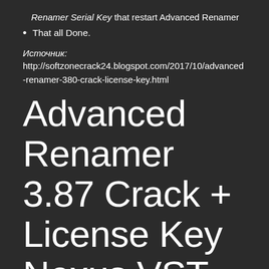Renamer Serial Key that restart Advanced Renamer
That all Done.
Источник:
http://softzonecrack24.blogspot.com/2017/10/advanced-renamer-380-crack-license-key.html
Advanced Renamer 3.87 Crack + License Key Nexus VST 3.20.3 Crack +